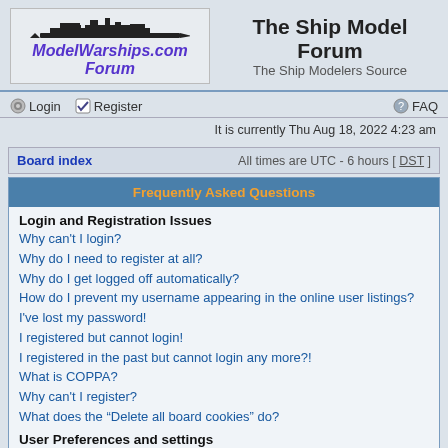[Figure (logo): ModelWarships.com Forum logo with silhouette of warship and italic bold purple text 'ModelWarships.com Forum']
The Ship Model Forum
The Ship Modelers Source
Login | Register | FAQ
It is currently Thu Aug 18, 2022 4:23 am
Board index | All times are UTC - 6 hours [ DST ]
Frequently Asked Questions
Login and Registration Issues
Why can't I login?
Why do I need to register at all?
Why do I get logged off automatically?
How do I prevent my username appearing in the online user listings?
I've lost my password!
I registered but cannot login!
I registered in the past but cannot login any more?!
What is COPPA?
Why can't I register?
What does the "Delete all board cookies" do?
User Preferences and settings
How do I change my settings?
How do I prevent my username appearing in the online user listings?